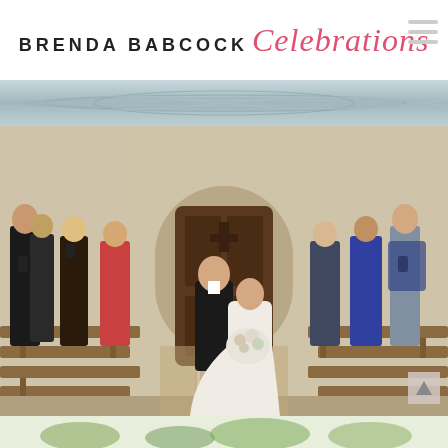BRENDA BABCOCK Celebrations
[Figure (photo): Decorative banner strip with swirling water/fabric pattern in muted blue-grey tones]
[Figure (photo): Wedding ceremony photo: bride in white ballgown holding large floral bouquet walking down the aisle with her father in a tuxedo. Guests on both sides photographing the procession. Stone chapel interior with wooden arched doors in background.]
[Figure (photo): Partial bottom strip showing greenery/floral decorations]